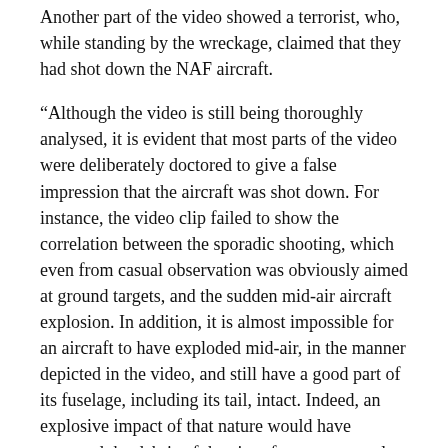Another part of the video showed a terrorist, who, while standing by the wreckage, claimed that they had shot down the NAF aircraft.
“Although the video is still being thoroughly analysed, it is evident that most parts of the video were deliberately doctored to give a false impression that the aircraft was shot down. For instance, the video clip failed to show the correlation between the sporadic shooting, which even from casual observation was obviously aimed at ground targets, and the sudden mid-air aircraft explosion. In addition, it is almost impossible for an aircraft to have exploded mid-air, in the manner depicted in the video, and still have a good part of its fuselage, including its tail, intact. Indeed, an explosive impact of that nature would have scattered the debris of the aircraft across several miles,” he had said.